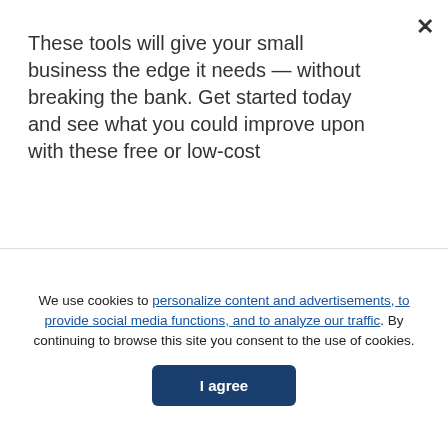These tools will give your small business the edge it needs — without breaking the bank. Get started today and see what you could improve upon with these free or low-cost
[Figure (other): Orange 'Download Free Now' button]
Dianomi
[Figure (other): Blue background section partially visible]
We use cookies to personalize content and advertisements, to provide social media functions, and to analyze our traffic. By continuing to browse this site you consent to the use of cookies.
[Figure (other): Dark blue 'I agree' button]